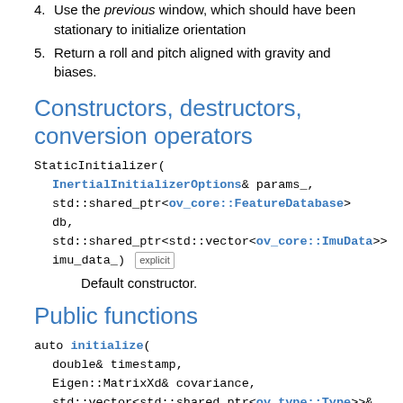4. Use the previous window, which should have been stationary to initialize orientation
5. Return a roll and pitch aligned with gravity and biases.
Constructors, destructors, conversion operators
StaticInitializer(
    InertialInitializerOptions& params_,
    std::shared_ptr<ov_core::FeatureDatabase> db,
    std::shared_ptr<std::vector<ov_core::ImuData>> imu_data_) explicit
    Default constructor.
Public functions
auto initialize(
    double& timestamp,
    Eigen::MatrixXd& covariance,
    std::vector<std::shared_ptr<ov_type::Type>>& order,
    std::shared_ptr<ov_type::IMU> t_imu,
    bool wait_for_jerk = true) -> bool